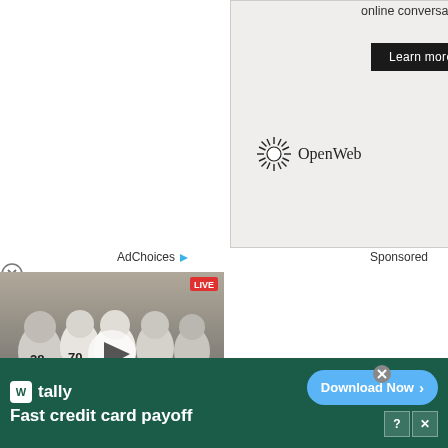[Figure (screenshot): OpenWeb advertisement banner with 'Learn more' button and OpenWeb logo on beige background]
AdChoices ▷   Sponsored
[Figure (photo): Football players in white helmets and uniforms with a play button overlay, indicating a video thumbnail]
[Figure (screenshot): Tally app advertisement banner: 'tally Fast credit card payoff' with 'Download Now' button on dark green background]